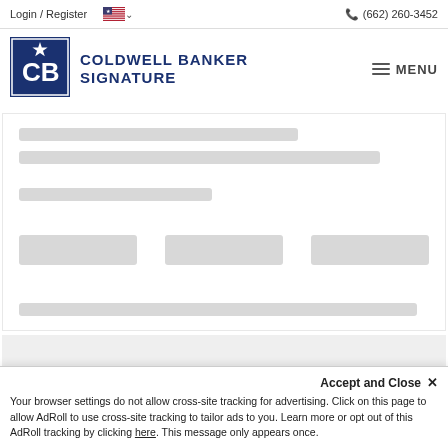Login / Register   (662) 260-3452
[Figure (logo): Coldwell Banker Signature logo with dark blue square containing stylized CB letters and star]
COLDWELL BANKER SIGNATURE
[Figure (screenshot): Loading skeleton placeholder content with gray bars representing text lines and blocks]
[Figure (screenshot): Gray background section below main content area]
Accept and Close ✕
Your browser settings do not allow cross-site tracking for advertising. Click on this page to allow AdRoll to use cross-site tracking to tailor ads to you. Learn more or opt out of this AdRoll tracking by clicking here. This message only appears once.